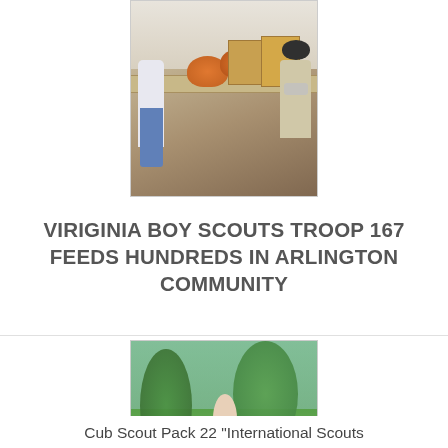[Figure (photo): Boy Scouts volunteers at a food distribution table with cardboard boxes and orange bags of produce. People wearing masks standing at folding tables outdoors.]
VIRIGINIA BOY SCOUTS TROOP 167 FEEDS HUNDREDS IN ARLINGTON COMMUNITY
[Figure (photo): Cub Scouts and an adult leader wearing masks standing in a parking lot with several large black garbage bags and a red-handled broom or rake. Trees and cars visible in the background.]
Cub Scout Pack 22 "International Scouts